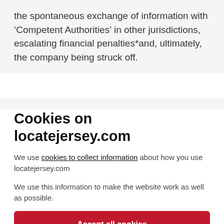the spontaneous exchange of information with 'Competent Authorities' in other jurisdictions, escalating financial penalties*and, ultimately, the company being struck off.
Cookies on locatejersey.com
We use cookies to collect information about how you use locatejersey.com
We use this information to make the website work as well as possible.
Accept all cookies
Cookie settings